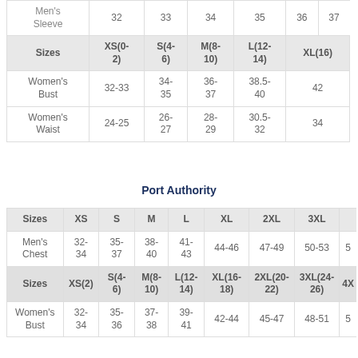| Sizes | XS(0-2) | S(4-6) | M(8-10) | L(12-14) | XL(16) |
| --- | --- | --- | --- | --- | --- |
| Women's Bust | 32-33 | 34-35 | 36-37 | 38.5-40 | 42 |
| Women's Waist | 24-25 | 26-27 | 28-29 | 30.5-32 | 34 |
Port Authority
| Sizes | XS | S | M | L | XL | 2XL | 3XL |  |
| --- | --- | --- | --- | --- | --- | --- | --- | --- |
| Men's Chest | 32-34 | 35-37 | 38-40 | 41-43 | 44-46 | 47-49 | 50-53 | 5 |
| Sizes | XS(2) | S(4-6) | M(8-10) | L(12-14) | XL(16-18) | 2XL(20-22) | 3XL(24-26) | 4X |
| Women's Bust | 32-34 | 35-36 | 37-38 | 39-41 | 42-44 | 45-47 | 48-51 | 5 |